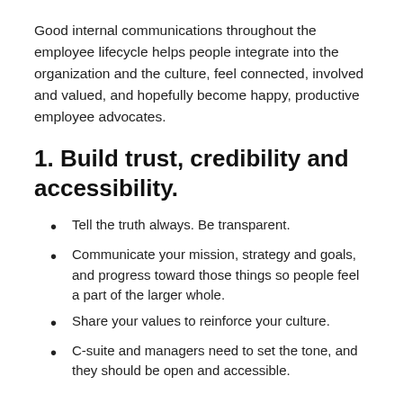Good internal communications throughout the employee lifecycle helps people integrate into the organization and the culture, feel connected, involved and valued, and hopefully become happy, productive employee advocates.
1. Build trust, credibility and accessibility.
Tell the truth always. Be transparent.
Communicate your mission, strategy and goals, and progress toward those things so people feel a part of the larger whole.
Share your values to reinforce your culture.
C-suite and managers need to set the tone, and they should be open and accessible.